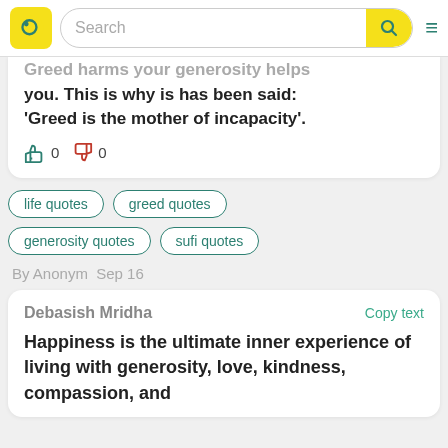Search
Greed harms your generosity helps you. This is why is has been said: 'Greed is the mother of incapacity'.
👍 0  👎 0
life quotes
greed quotes
generosity quotes
sufi quotes
By Anonym  Sep 16
Debasish Mridha
Copy text
Happiness is the ultimate inner experience of living with generosity, love, kindness, compassion, and